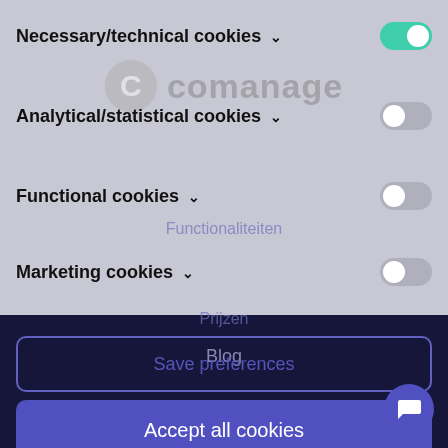[Figure (screenshot): Cookie consent dialog overlay on a website (comanage.com). Shows toggle switches for Necessary/technical cookies (enabled, teal), Analytical/statistical cookies (disabled, grey), Functional cookies (disabled, grey), Marketing cookies (disabled, grey). Two buttons: 'Save preferences' (outlined) and 'Accept all cookies' (purple filled). Background shows ghost navigation links: Functionaliteiten, Prijzen, Over CoManage, Word een partner, Blog, Contacteer ons. Bottom dark navy section with Blog and Contacteer ons links and a purple chat button.]